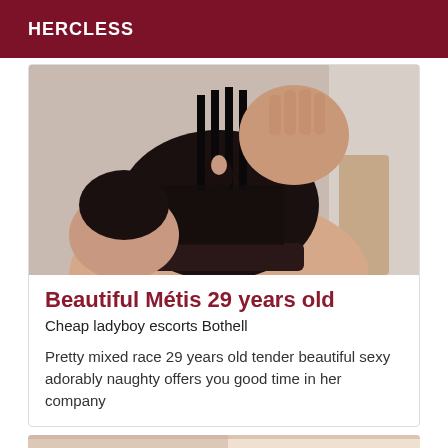HERCLESS
[Figure (photo): Close-up photo of a person wearing a black lace bodysuit with strappy cutout top, taking a mirror selfie]
Beautiful Métis 29 years old
Cheap ladyboy escorts Bothell
Pretty mixed race 29 years old tender beautiful sexy adorably naughty offers you good time in her company
[Figure (photo): Partial view of another photo at the bottom of the page, showing a light-colored background]